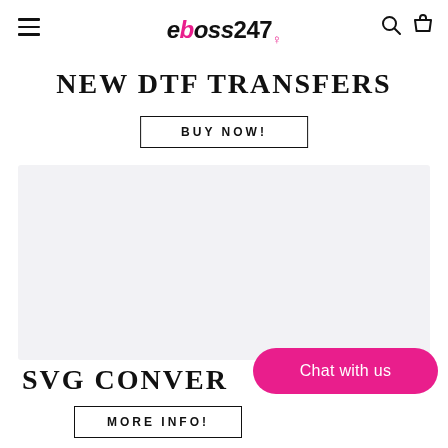eboss247
NEW DTF TRANSFERS
BUY NOW!
[Figure (other): Light gray promotional banner placeholder area]
SVG CONVER...
MORE INFO!
Chat with us